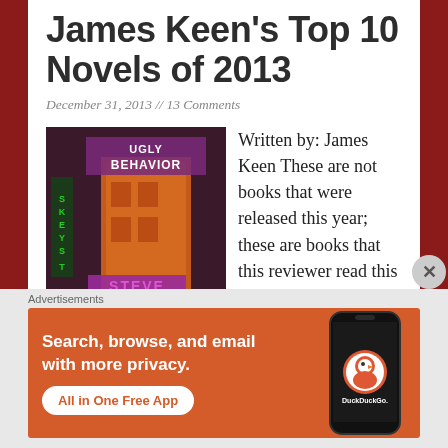James Keen's Top 10 Novels of 2013
December 31, 2013 // 13 Comments
[Figure (photo): Book cover for 'Ugly Behavior' by Steve, showing a purple-toned building facade with neon signage]
Written by: James Keen These are not books that were released this year; these are books that this reviewer read this year, some of which may be regarded by many as being Read
Advertisements
[Figure (other): DuckDuckGo advertisement banner: 'Search, browse, and email with more privacy. All in One Free App' with phone mockup showing DuckDuckGo logo]